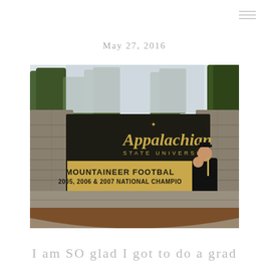≡ (navigation menu icon)
May 27, 2016
[Figure (photo): A woman in graduation cap and gown holds a young child in front of the Appalachian State University sign. The sign reads 'Appalachian STATE UNIVERSITY' and below 'MOUNTAINEER FOOTBALL 2005, 2006 & 2007 NATIONAL CHAMPIONS'. The sign is made of dark wood with gold lettering, mounted between stone pillars with trees in the background.]
I am SO glad I got to do a grad